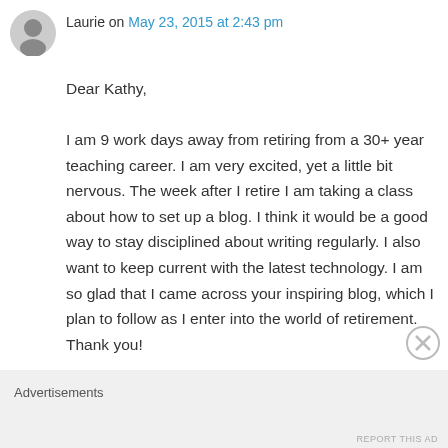Laurie on May 23, 2015 at 2:43 pm
Dear Kathy,

I am 9 work days away from retiring from a 30+ year teaching career. I am very excited, yet a little bit nervous. The week after I retire I am taking a class about how to set up a blog. I think it would be a good way to stay disciplined about writing regularly. I also want to keep current with the latest technology. I am so glad that I came across your inspiring blog, which I plan to follow as I enter into the world of retirement. Thank you!
Advertisements